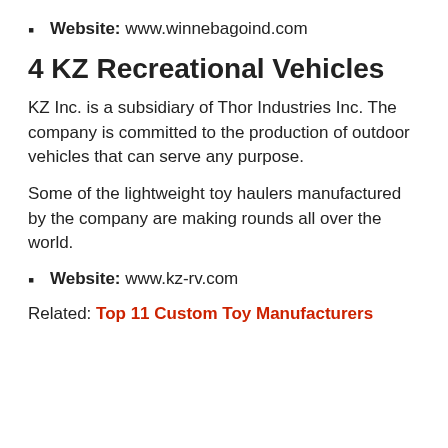Website: www.winnebagoind.com
4 KZ Recreational Vehicles
KZ Inc. is a subsidiary of Thor Industries Inc. The company is committed to the production of outdoor vehicles that can serve any purpose.
Some of the lightweight toy haulers manufactured by the company are making rounds all over the world.
Website: www.kz-rv.com
Related: Top 11 Custom Toy Manufacturers